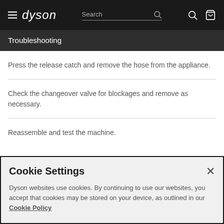dyson | Search
Troubleshooting
Press the release catch and remove the hose from the appliance.
Check the changeover valve for blockages and remove as necessary.
Reassemble and test the machine.
Cookie Settings
Dyson websites use cookies. By continuing to use our websites, you accept that cookies may be stored on your device, as outlined in our Cookie Policy